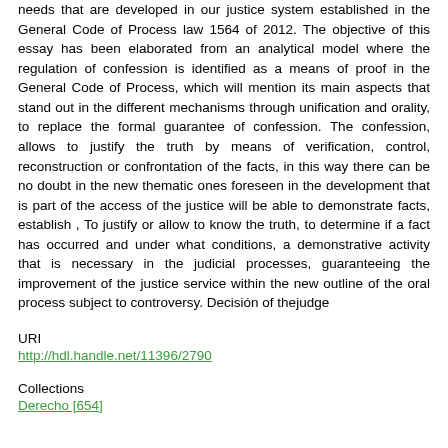needs that are developed in our justice system established in the General Code of Process law 1564 of 2012. The objective of this essay has been elaborated from an analytical model where the regulation of confession is identified as a means of proof in the General Code of Process, which will mention its main aspects that stand out in the different mechanisms through unification and orality, to replace the formal guarantee of confession. The confession, allows to justify the truth by means of verification, control, reconstruction or confrontation of the facts, in this way there can be no doubt in the new thematic ones foreseen in the development that is part of the access of the justice will be able to demonstrate facts, establish , To justify or allow to know the truth, to determine if a fact has occurred and under what conditions, a demonstrative activity that is necessary in the judicial processes, guaranteeing the improvement of the justice service within the new outline of the oral process subject to controversy. Decisión of thejudge
URI
http://hdl.handle.net/11396/2790
Collections
Derecho [654]